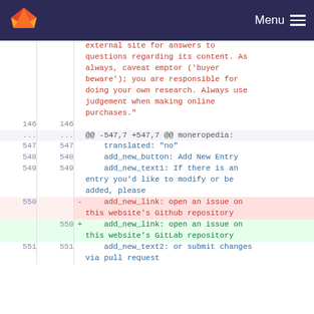GitLab Menu
| old line | new line | sign | code |
| --- | --- | --- | --- |
|  |  |  | external site for answers to questions regarding its content. As always, caveat emptor ('buyer beware'); you are responsible for doing your own research. Always use judgement when making online purchases." |
| 146 | 146 |  |  |
| ... | ... |  | @@ -547,7 +547,7 @@ moneropedia: |
| 547 | 547 |  |     translated: "no" |
| 548 | 548 |  |     add_new_button: Add New Entry |
| 549 | 549 |  |     add_new_text1: If there is an entry you'd like to modify or be added, please |
| 550 |  | - |     add_new_link: open an issue on this website's Github repository |
|  | 550 | + |     add_new_link: open an issue on this website's GitLab repository |
| 551 | 551 |  |     add_new_text2: or submit changes via pull request |